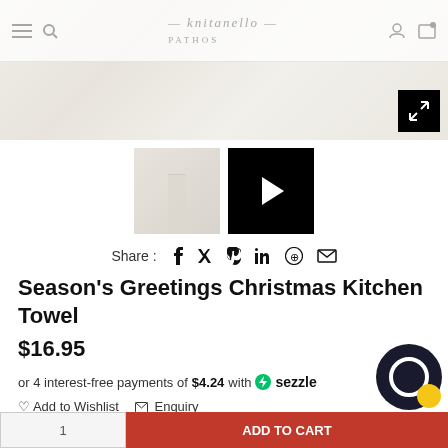[Figure (photo): Product page screenshot showing a white kitchen towel on a marble surface with a website navigation bar at top, thumbnail images below, share icons, product title, price, and payment options.]
— knitanello — PATHOS (website navigation with menu, search, account, cart icons)
[Figure (photo): Thumbnail of white folded kitchen towel]
[Figure (photo): Black video thumbnail with play button]
Share :  f  𝕏  𝒫  in  ⊕  ✉
Season's Greetings Christmas Kitchen Towel
$16.95
or 4 interest-free payments of $4.24 with 🌈 sezzle
♡ Add to Wishlist  ✉ Enquiry